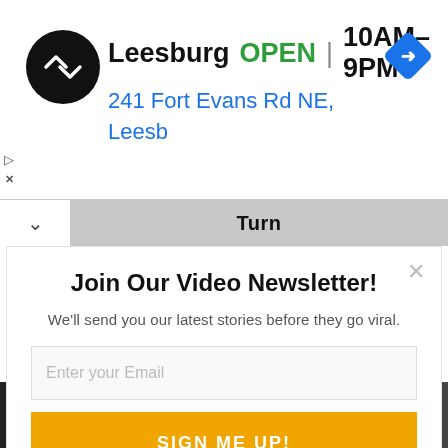[Figure (screenshot): Mobile browser ad banner showing Leesburg store info: logo circle with arrow icon, text 'Leesburg OPEN 10AM-9PM', address '241 Fort Evans Rd NE, Leesb', blue diamond navigation icon, and small play/close icons on left side]
Turn
Join Our Video Newsletter!
We'll send you our latest stories before they go viral.
Enter your Email
SIGN ME UP!
[Figure (screenshot): Dark video thumbnail section showing text 'TRULY HEART BREAKING' in white bold letters, a SUMO branded logo pill, a play button circle, and a partial photo of people in grayscale background]